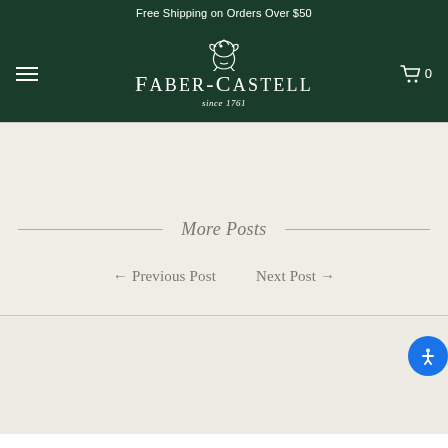Free Shipping on Orders Over $50
[Figure (logo): Faber-Castell logo with knight emblem and text 'FABER-CASTELL since 1761' on dark green background, with hamburger menu icon on left and shopping cart icon with 0 on right]
More Posts
← Previous Post   Next Post →